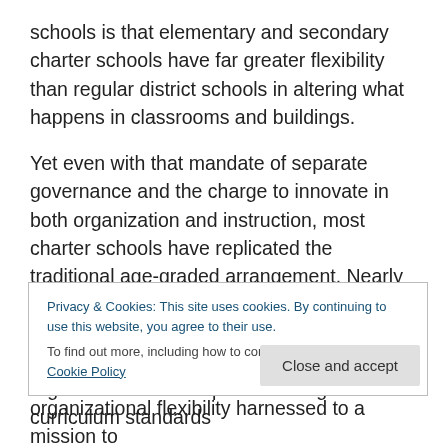schools is that elementary and secondary charter schools have far greater flexibility than regular district schools in altering what happens in classrooms and buildings.
Yet even with that mandate of separate governance and the charge to innovate in both organization and instruction, most charter schools have replicated the traditional age-graded arrangement. Nearly all charter schools are K-6 or K-8 elementary or 9-12 high schools. Ditto for curriculum since accreditation–a must for any newly organized school–requires abiding with state curriculum standards
Privacy & Cookies: This site uses cookies. By continuing to use this website, you agree to their use.
To find out more, including how to control cookies, see here: Cookie Policy
Close and accept
organizational flexibility harnessed to a mission to